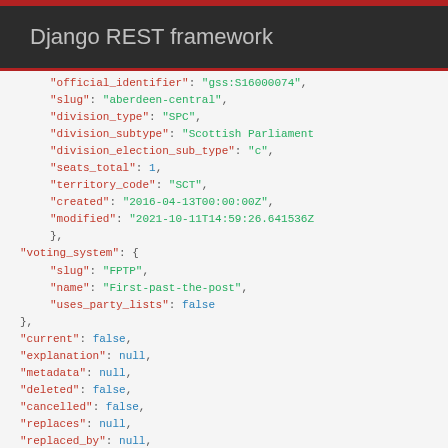Django REST framework
JSON code block showing API response fields including official_identifier, slug, division_type, division_subtype, division_election_sub_type, seats_total, territory_code, created, modified, voting_system object with slug/name/uses_party_lists, current, explanation, metadata, deleted, cancelled, replaces, replaced_by, tags